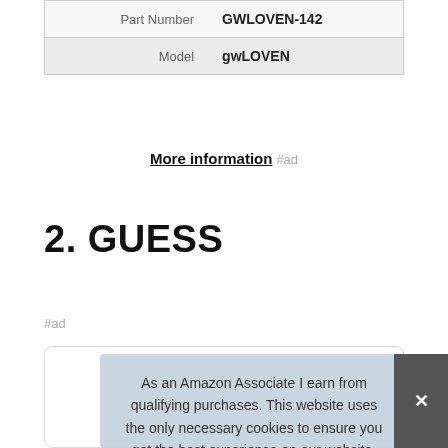| Part Number | GWLOVEN-142 |
| Model | gwLOVEN |
More information #ad
2. GUESS
#ad
As an Amazon Associate I earn from qualifying purchases. This website uses the only necessary cookies to ensure you get the best experience on our website. More information